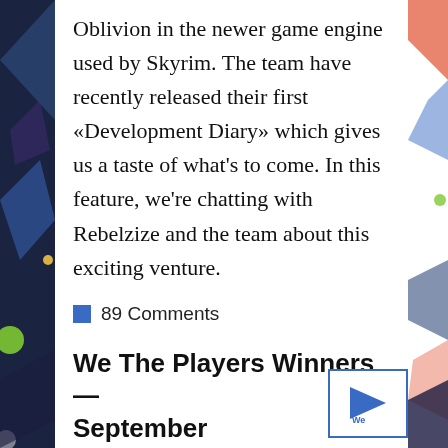Oblivion in the newer game engine used by Skyrim. The team have recently released their first «Development Diary» which gives us a taste of what's to come. In this feature, we're chatting with Rebelzize and the team about this exciting venture.
89 Comments
We The Players Winners — September
We're now into the fourth month of the We The Players prize draw exclusively for Nexus Mods users, so it's time for
[Figure (logo): We The Players logo — blue triangle/arrow shape on white background with blue border]